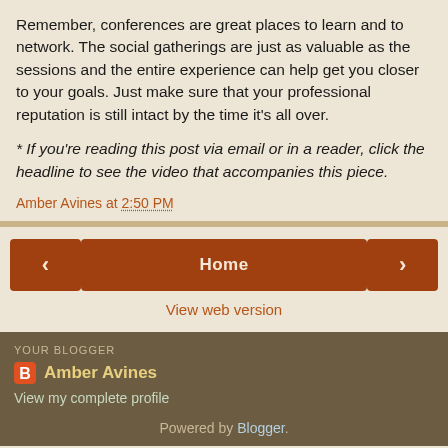Remember, conferences are great places to learn and to network. The social gatherings are just as valuable as the sessions and the entire experience can help get you closer to your goals. Just make sure that your professional reputation is still intact by the time it's all over.
* If you're reading this post via email or in a reader, click the headline to see the video that accompanies this piece.
Amber Avines at 2:50 PM
< Home >
View web version
YOUR BLOGGER
Amber Avines
View my complete profile
Powered by Blogger.